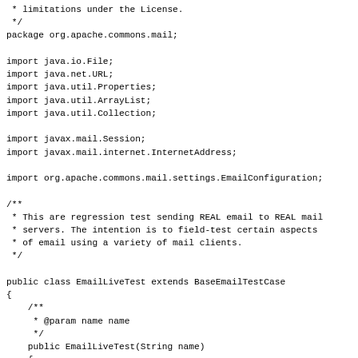* limitations under the License.
 */
package org.apache.commons.mail;

import java.io.File;
import java.net.URL;
import java.util.Properties;
import java.util.ArrayList;
import java.util.Collection;

import javax.mail.Session;
import javax.mail.internet.InternetAddress;

import org.apache.commons.mail.settings.EmailConfiguration;

/**
 * This are regression test sending REAL email to REAL mail
 * servers. The intention is to field-test certain aspects
 * of email using a variety of mail clients.
 */

public class EmailLiveTest extends BaseEmailTestCase
{
    /**
     * @param name name
     */
    public EmailLiveTest(String name)
    {
        super(name);
    }

    /**
     * @throws Exception